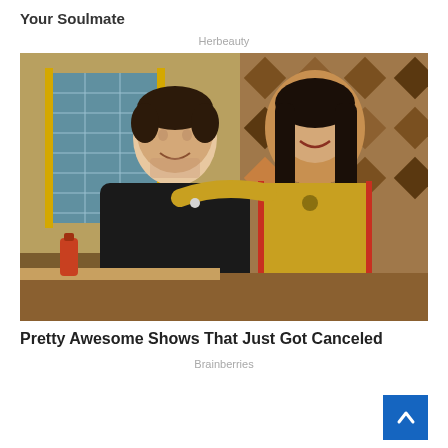Your Soulmate
Herbeauty
[Figure (photo): A man in a black sweater seated and a woman in a yellow and red uniform standing beside him with her arm around him, in a TV show diner set scene.]
Pretty Awesome Shows That Just Got Canceled
Brainberries